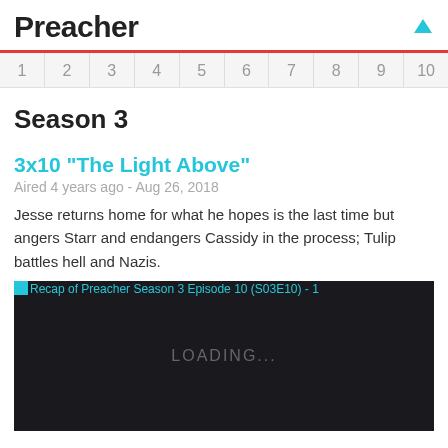Preacher
| 1 | 2 | 3 | 4 | 5 | 6 | 7 | 8 | 9 | 10 |
| --- | --- | --- | --- | --- | --- | --- | --- | --- | --- |
Season 3
3x10 "The Light Above"
Aired 4 years ago - Aug 26, 2018
Jesse returns home for what he hopes is the last time but angers Starr and endangers Cassidy in the process; Tulip battles hell and Nazis.
[Figure (screenshot): Dark video player loading screen with text 'LOADING...' and alt text 'Recap of Preacher Season 3 Episode 10 (S03E10) - 1']